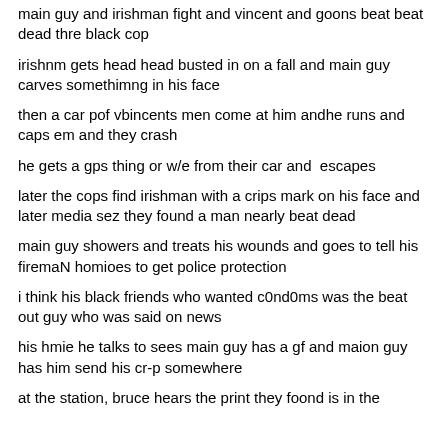main guy and irishman fight  and vincent and goons beat beat dead thre black cop
irishnm gets head head busted in on a fall and main guy carves somethimng in his face
then a car pof vbincents men come at him andhe runs and caps em and they crash
he gets a gps thing or w/e from their car and  escapes
later the cops find irishman with a crips mark on his face and later media sez they found a man nearly beat dead
main guy showers and treats his wounds and goes to tell his firemaN homioes to get police protection
i think his black friends who wanted c0nd0ms was the beat out guy who was said on news
his hmie he talks to sees main guy has a gf and maion guy has him send his cr-p somewhere
at the station, bruce hears the print they foond is in the